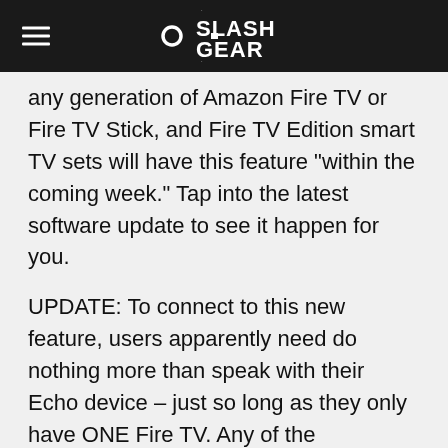SlashGear
any generation of Amazon Fire TV or Fire TV Stick, and Fire TV Edition smart TV sets will have this feature "within the coming week." Tap into the latest software update to see it happen for you.
UPDATE: To connect to this new feature, users apparently need do nothing more than speak with their Echo device – just so long as they only have ONE Fire TV. Any of the commands listed above will initiate the connection. Or you may want to start with the most simple: "Alexa, turn on Fire TV."
NOTE: Fire TV sets – like this Westinghouse 4K set have had voice command control since the beginning. This new connectivity is between Echo devices and Amazon